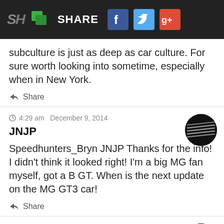SH | chat | SHARE | Facebook | Twitter | Google+
subculture is just as deep as car culture. For sure worth looking into sometime, especially when in New York.
Share
4:29 am  December 9, 2014
JNJP
Speedhunters_Bryn JNJP Thanks for the info! I didn't think it looked right! I'm a big MG fan myself, got a B GT. When is the next update on the MG GT3 car!
Share
4:23 pm  December 10, 2014